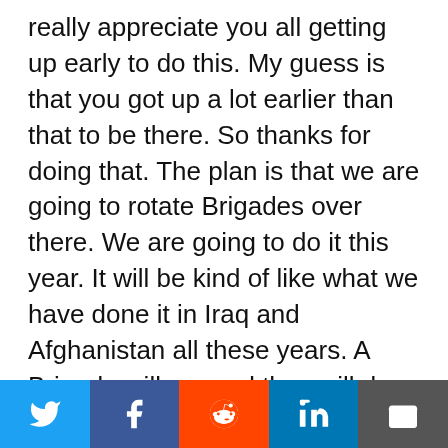really appreciate you all getting up early to do this. My guess is that you got up a lot earlier than that to be there. So thanks for doing that. The plan is that we are going to rotate Brigades over there. We are going to do it this year. It will be kind of like what we have done it in Iraq and Afghanistan all these years. A Brigade will go, and they will do a right seat ride, and then they will take over the mission. The reason that we have decided to do that is two-fold. One is the fact that what we are starting to figure out is that we were having some readiness issues because we were rotating 700-800 Soldiers every month out of 2nd Infantry Division. You are in constant training mode integrating new Soldiers, and so what we
[Figure (other): Social sharing bar with Twitter, Facebook, Reddit, LinkedIn, and Email icons]